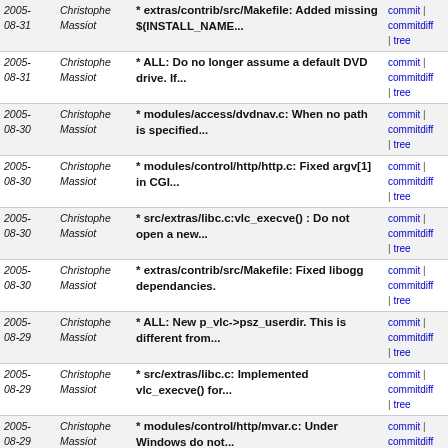| Date | Author | Message | Links |
| --- | --- | --- | --- |
| 2005-08-31 | Christophe Massiot | * extras/contrib/src/Makefile: Added missing $(INSTALL_NAME... | commit | commitdiff | tree |
| 2005-08-31 | Christophe Massiot | * ALL: Do no longer assume a default DVD drive. If... | commit | commitdiff | tree |
| 2005-08-30 | Christophe Massiot | * modules/access/dvdnav.c: When no path is specified... | commit | commitdiff | tree |
| 2005-08-30 | Christophe Massiot | * modules/control/http/http.c: Fixed argv[1] in CGI... | commit | commitdiff | tree |
| 2005-08-30 | Christophe Massiot | * src/extras/libc.c:vlc_execve() : Do not open a new... | commit | commitdiff | tree |
| 2005-08-30 | Christophe Massiot | * extras/contrib/src/Makefile: Fixed libogg dependancies. | commit | commitdiff | tree |
| 2005-08-29 | Christophe Massiot | * ALL: New p_vlc->psz_userdir. This is different from... | commit | commitdiff | tree |
| 2005-08-29 | Christophe Massiot | * src/extras/libc.c: Implemented vlc_execve() for... | commit | commitdiff | tree |
| 2005-08-29 | Christophe Massiot | * modules/control/http/mvar.c: Under Windows do not... | commit | commitdiff | tree |
| 2005-08-29 | Christophe Massiot | * modules/gui/wxwidgets/interface.cpp: Missing FromLocale... | commit | commitdiff | tree |
| 2005-08-27 | Christophe Massiot | * toolbox: Removed a bash-ism. | commit | commitdiff | tree |
| 2005-08-26 | Christophe Massiot | * src/extras/libc.c: Fixed Win32 compilation. | commit | commitdiff | tree |
| 2005-08-26 | Christophe Massiot | * src/extras/libc.c: Implemented a wrapper around... | commit | commitdiff | tree |